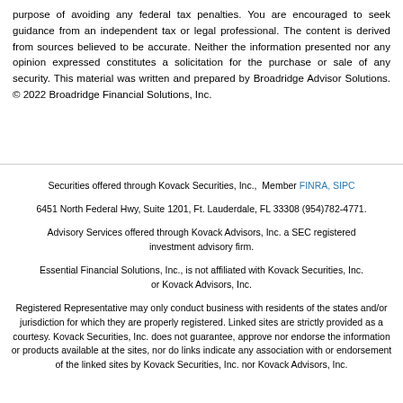purpose of avoiding any federal tax penalties. You are encouraged to seek guidance from an independent tax or legal professional. The content is derived from sources believed to be accurate. Neither the information presented nor any opinion expressed constitutes a solicitation for the purchase or sale of any security. This material was written and prepared by Broadridge Advisor Solutions. © 2022 Broadridge Financial Solutions, Inc.
Securities offered through Kovack Securities, Inc., Member FINRA, SIPC
6451 North Federal Hwy, Suite 1201, Ft. Lauderdale, FL 33308 (954)782-4771.
Advisory Services offered through Kovack Advisors, Inc. a SEC registered investment advisory firm.
Essential Financial Solutions, Inc., is not affiliated with Kovack Securities, Inc. or Kovack Advisors, Inc.
Registered Representative may only conduct business with residents of the states and/or jurisdiction for which they are properly registered. Linked sites are strictly provided as a courtesy. Kovack Securities, Inc. does not guarantee, approve nor endorse the information or products available at the sites, nor do links indicate any association with or endorsement of the linked sites by Kovack Securities, Inc. nor Kovack Advisors, Inc.